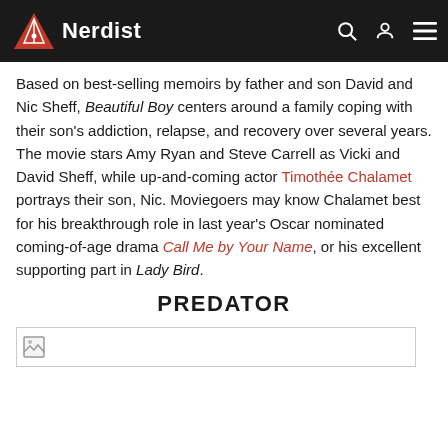Nerdist
Based on best-selling memoirs by father and son David and Nic Sheff, Beautiful Boy centers around a family coping with their son’s addiction, relapse, and recovery over several years. The movie stars Amy Ryan and Steve Carrell as Vicki and David Sheff, while up-and-coming actor Timothée Chalamet portrays their son, Nic. Moviegoers may know Chalamet best for his breakthrough role in last year’s Oscar nominated coming-of-age drama Call Me by Your Name, or his excellent supporting part in Lady Bird.
PREDATOR
[Figure (photo): Image placeholder for Predator section]